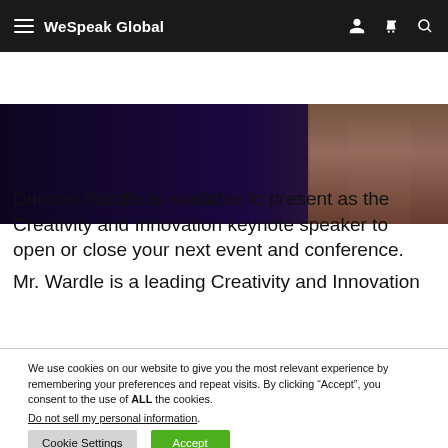WeSpeak Global
[Figure (photo): Partial view of a person on a stage with dark purple/blue background, cropped at top]
Duncan Wardle is available to present as the Creativity and Innovation keynote speaker to open or close your next event and conference.
Mr. Wardle is a leading Creativity and Innovation
We use cookies on our website to give you the most relevant experience by remembering your preferences and repeat visits. By clicking “Accept”, you consent to the use of ALL the cookies.
Do not sell my personal information.